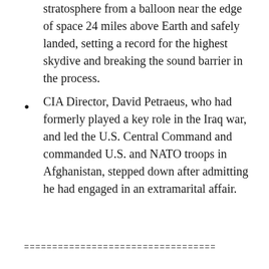stratosphere from a balloon near the edge of space 24 miles above Earth and safely landed, setting a record for the highest skydive and breaking the sound barrier in the process.
CIA Director, David Petraeus, who had formerly played a key role in the Iraq war, and led the U.S. Central Command and commanded U.S. and NATO troops in Afghanistan, stepped down after admitting he had engaged in an extramarital affair.
==================================